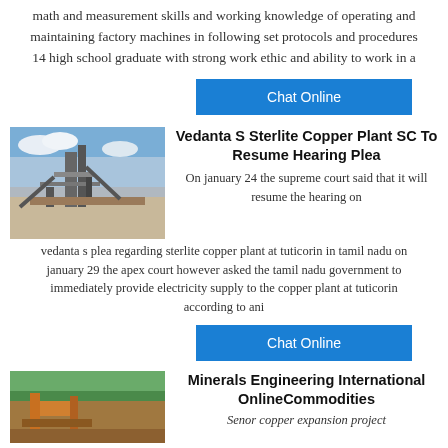math and measurement skills and working knowledge of operating and maintaining factory machines in following set protocols and procedures 14 high school graduate with strong work ethic and ability to work in a
[Figure (other): Blue 'Chat Online' button]
[Figure (photo): Outdoor industrial machinery / mining equipment photo]
Vedanta S Sterlite Copper Plant SC To Resume Hearing Plea
On january 24 the supreme court said that it will resume the hearing on vedanta s plea regarding sterlite copper plant at tuticorin in tamil nadu on january 29 the apex court however asked the tamil nadu government to immediately provide electricity supply to the copper plant at tuticorin according to ani
[Figure (other): Blue 'Chat Online' button]
[Figure (photo): Outdoor mining/industrial site photo]
Minerals Engineering International OnlineCommodities
Senor copper expansion project